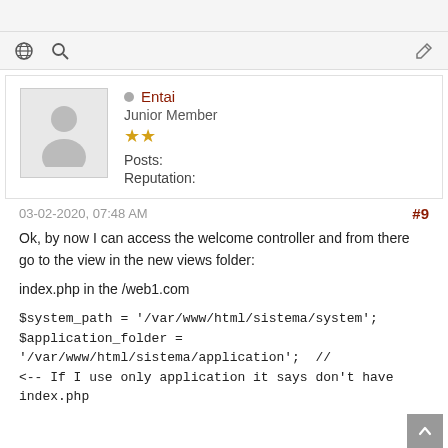Entai
Junior Member
★★
Posts: 19
Reputation: 0
03-02-2020, 07:48 AM  #9
Ok, by now I can access the welcome controller and from there go to the view in the new views folder:

index.php in the /web1.com

$system_path = '/var/www/html/sistema/system';
$application_folder = '/var/www/html/sistema/application';  //
<-- If I use only application it says don't have index.php